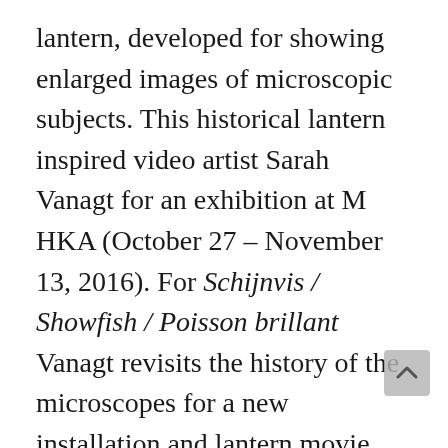lantern, developed for showing enlarged images of microscopic subjects. This historical lantern inspired video artist Sarah Vanagt for an exhibition at M HKA (October 27 – November 13, 2016). For Schijnvis / Showfish / Poisson brillant Vanagt revisits the history of the microscopes for a new installation and lantern movie. She thus offers a contemporary perspective on microscopy, science and spectacle.
Sarah Vanagt was invited by members of the Research Team Antwerp and the Research Group Visual Poetics to develop a project